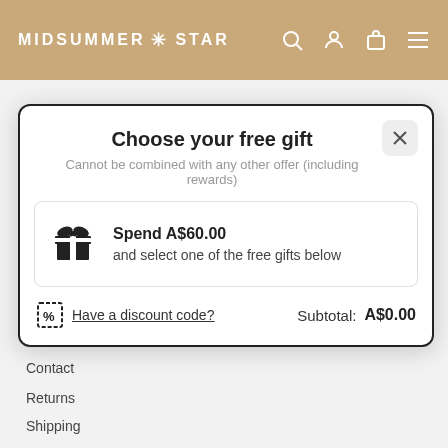MIDSUMMER * STAR
Choose your free gift
Cannot be combined with any other offer (including rewards)
Spend A$60.00 and select one of the free gifts below
Have a discount code?  Subtotal: A$0.00
INFO
Contact
Returns
Shipping